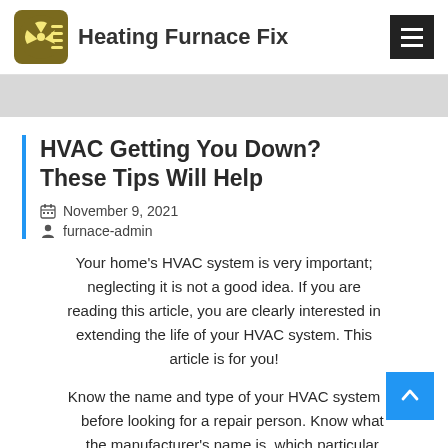Heating Furnace Fix
[Figure (photo): Gray image placeholder strip at top of article]
HVAC Getting You Down? These Tips Will Help
November 9, 2021
furnace-admin
Your home's HVAC system is very important; neglecting it is not a good idea. If you are reading this article, you are clearly interested in extending the life of your HVAC system. This article is for you!
Know the name and type of your HVAC system before looking for a repair person. Know what the manufacturer's name is, which particular model you have and what's gone on with the